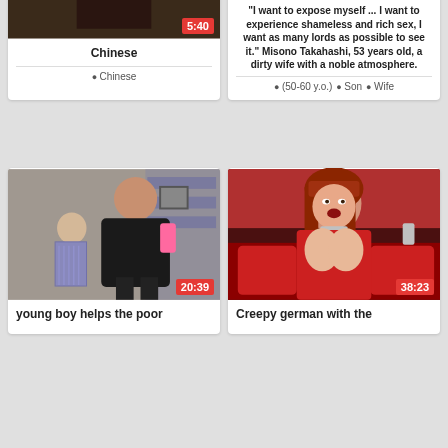[Figure (screenshot): Thumbnail of Chinese video, dark background, duration 5:40]
Chinese
Chinese
[Figure (screenshot): Thumbnail of Japanese woman in beige top standing in front of decorative gate, watermark www.centerv, duration 5:25]
"I want to expose myself ... I want to experience shameless and rich sex, I want as many lords as possible to see it." Misono Takahashi, 53 years old, a dirty wife with a noble atmosphere.
(50-60 y.o.)
Son
Wife
[Figure (screenshot): Thumbnail of young boy and heavy woman in office/storage room, duration 20:39]
young boy helps the poor
[Figure (screenshot): Thumbnail of redhead woman in red outfit, duration 38:23]
Creepy german with the